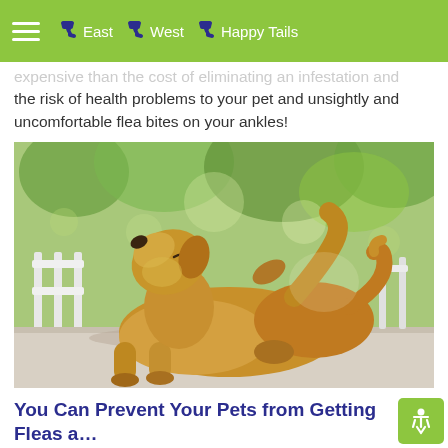East | West | Happy Tails
expensive than the cost of eliminating an infestation and the risk of health problems to your pet and unsightly and uncomfortable flea bites on your ankles!
[Figure (photo): A golden/tan dog sitting on a white wooden surface outdoors, scratching itself with its hind leg, with blurred green trees in the background.]
You Can Prevent Your Pets from Getting Fleas and Ticks in Springfield